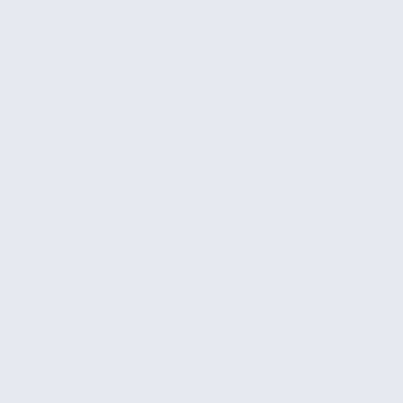<meta name="keywords" content="Tiffany & Co Let Me Count The Ways Silver Bangle [T732006] Tiffany Earrings Tiffany Pendants Tiffany Bracelets Bangles Tiffany Necklaces Tiffany Accessories Tiffany Rings Tiffany Sets Tiffany Money Clip Professional Tiffany & Co" />
<meta name="description" content="cheap tiffany Jewelry Tiffany Let Me Count The Ways Silver Bangle [T732006] - Tiffany Bangles is one of the famous jewelry brands in the fashion world and the popular Jewelry beloved by many regular consumers by its unique style and reliable quality. It is also known to be an ornament paradise where you can find unexpected joy and enjoyment of shopping.Visit us " />
<meta http-equiv="imagetoolbar" content="no" />

<base href="http://www.ptiffany.top/" />
<link rel="canonical" href="http://www.ptiffany.top/tiffany-co-let-me-count-the-ways-silver-bangle-p-473.html" />

<link rel="stylesheet" type="text/css" href="http://www.ptiffany.top/includes/templates/polo/css/style_imagehover.css" />
<link rel="stylesheet" type="text/css" href="http://www.ptiffany.top/includes/templates/polo/css/stylesheet.css" />
<link rel="stylesheet" type="text/css" href="http://www.ptiffany.top/includes/templates/polo/css/stylesheet_css_buttons.css" />
/>
<link rel="stylesheet" type="text/css" media="print" href="http://www.ptiffany.top/includes/templates/polo/css/print_